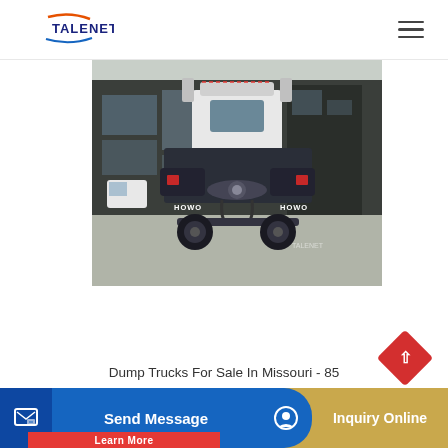TALENET
[Figure (photo): Rear view of a HOWO branded truck/tractor head parked in front of a dark industrial building. The truck has 'HOWO' lettering visible on both rear mudguards.]
Dump Trucks For Sale In Missouri - 85
Send Message
Inquiry Online